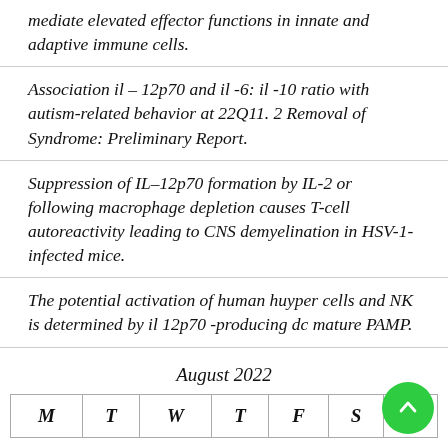mediate elevated effector functions in innate and adaptive immune cells.
Association il – 12p70 and il -6: il -10 ratio with autism-related behavior at 22Q11. 2 Removal of Syndrome: Preliminary Report.
Suppression of IL–12p70 formation by IL-2 or following macrophage depletion causes T-cell autoreactivity leading to CNS demyelination in HSV-1-infected mice.
The potential activation of human huyper cells and NK is determined by il 12p70 -producing dc mature PAMP.
August 2022
| M | T | W | T | F | S | S |
| --- | --- | --- | --- | --- | --- | --- |